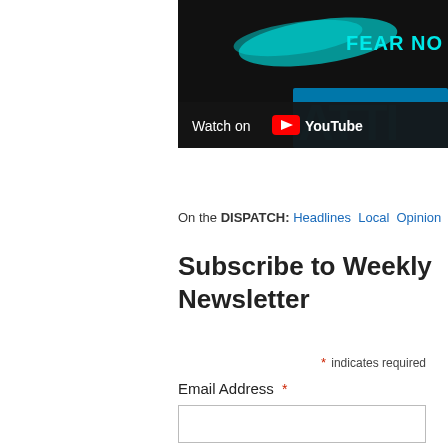[Figure (screenshot): YouTube video thumbnail showing 'FEAR NO' text in cyan on dark background with 'Watch on YouTube' bar at bottom. Partial text 'ATTI' visible in blue at lower right.]
On the DISPATCH: Headlines  Local  Opinion
Subscribe to Weekly Newsletter
* indicates required
Email Address *